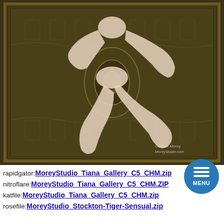[Figure (photo): Overhead/aerial view of a person with pale skin lying on a dark ornate patterned rug/carpet, with limbs spread out. The rug has intricate green, gold, and dark floral/geometric patterns. A watermark reads '©CTaM Morey MoreyStudio.com' in the lower right corner.]
rapidgator:MoreeyStudio_Tiana_Gallery_C5_CHM.zip
nitroflare:MoreyStudio_Tiana_Gallery_C5_CHM.ZIP
katfile:MoreyStudio_Tiana_Gallery_C5_CHM.zip
rosefile:MoreyStudio_Stockton-Tiger-Sensual.zip